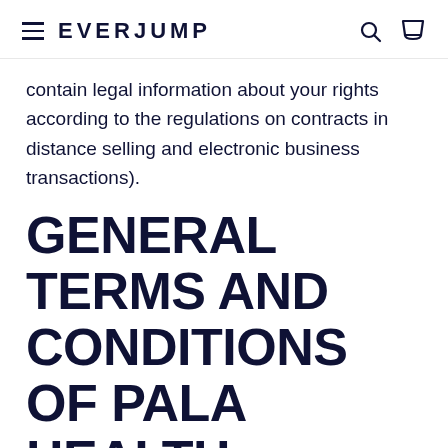EVERJUMP
contain legal information about your rights according to the regulations on contracts in distance selling and electronic business transactions).
GENERAL TERMS AND CONDITIONS OF PALA HEALTH